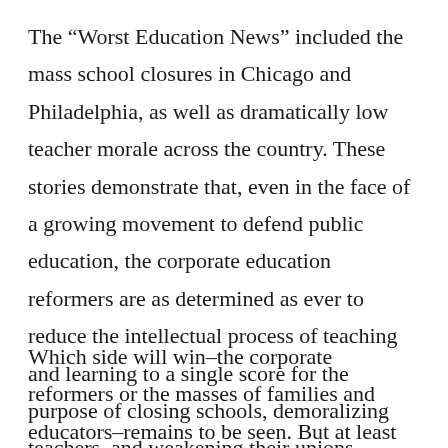The “Worst Education News” included the mass school closures in Chicago and Philadelphia, as well as dramatically low teacher morale across the country. These stories demonstrate that, even in the face of a growing movement to defend public education, the corporate education reformers are as determined as ever to reduce the intellectual process of teaching and learning to a single score for the purpose of closing schools, demoralizing teachers, and weakening their unions.
Which side will win–the corporate reformers or the masses of families and educators–remains to be seen. But at least now there are two sides to this national struggle.